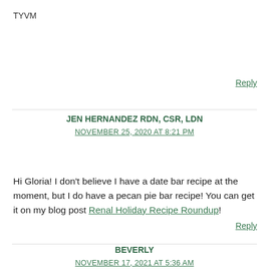TYVM
Reply
JEN HERNANDEZ RDN, CSR, LDN
NOVEMBER 25, 2020 AT 8:21 PM
Hi Gloria! I don't believe I have a date bar recipe at the moment, but I do have a pecan pie bar recipe! You can get it on my blog post Renal Holiday Recipe Roundup!
Reply
BEVERLY
NOVEMBER 17, 2021 AT 5:36 AM